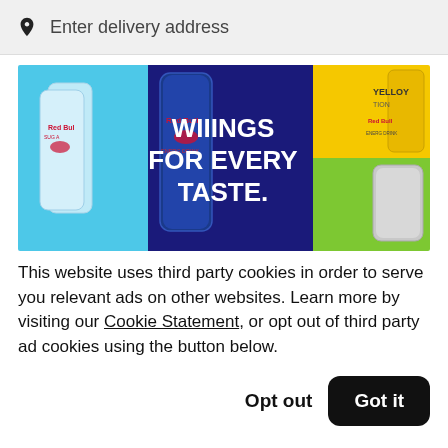Enter delivery address
[Figure (illustration): Red Bull energy drinks advertisement banner showing multiple cans with text 'WIIINGS FOR EVERY TASTE.' on a dark blue background, with blue, yellow, and green colored sections.]
This website uses third party cookies in order to serve you relevant ads on other websites. Learn more by visiting our Cookie Statement, or opt out of third party ad cookies using the button below.
Opt out
Got it